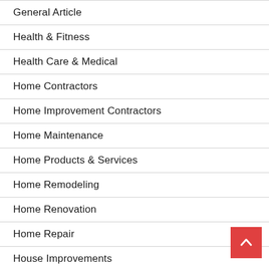General Article
Health & Fitness
Health Care & Medical
Home Contractors
Home Improvement Contractors
Home Maintenance
Home Products & Services
Home Remodeling
Home Renovation
Home Repair
House Improvements
Internet Services
Kitchen Remodel
Kitchen Renovation